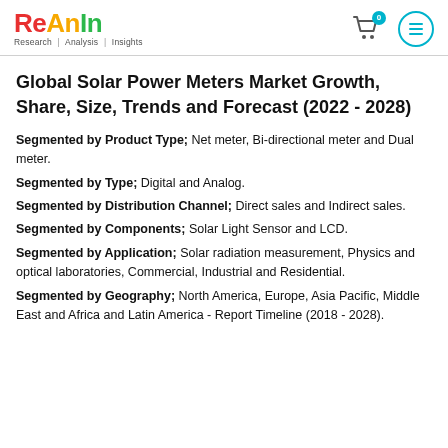ReAnIn — Research | Analysis | Insights
Global Solar Power Meters Market Growth, Share, Size, Trends and Forecast (2022 - 2028)
Segmented by Product Type; Net meter, Bi-directional meter and Dual meter.
Segmented by Type; Digital and Analog.
Segmented by Distribution Channel; Direct sales and Indirect sales.
Segmented by Components; Solar Light Sensor and LCD.
Segmented by Application; Solar radiation measurement, Physics and optical laboratories, Commercial, Industrial and Residential.
Segmented by Geography; North America, Europe, Asia Pacific, Middle East and Africa and Latin America - Report Timeline (2018 - 2028).